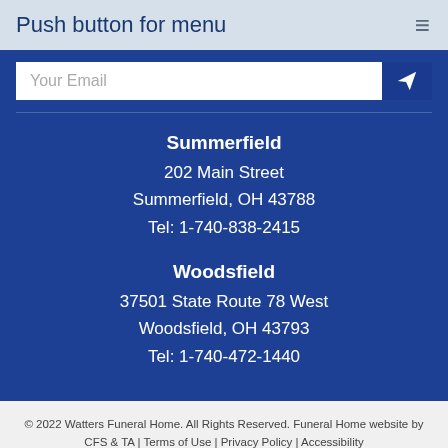Push button for menu
Your Email
Summerfield
202 Main Street
Summerfield, OH 43788
Tel: 1-740-838-2415
Woodsfield
37501 State Route 78 West
Woodsfield, OH 43793
Tel: 1-740-472-1440
© 2022 Watters Funeral Home. All Rights Reserved. Funeral Home website by CFS & TA | Terms of Use | Privacy Policy | Accessibility